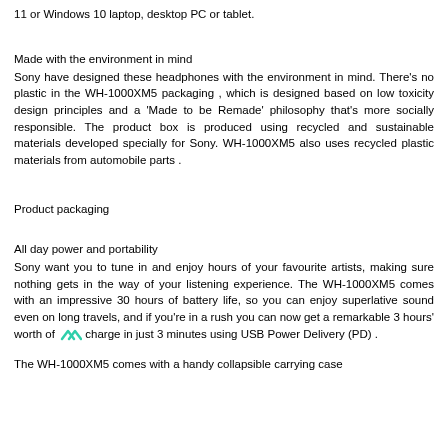11 or Windows 10 laptop, desktop PC or tablet.
Made with the environment in mind
Sony have designed these headphones with the environment in mind. There's no plastic in the WH-1000XM5 packaging , which is designed based on low toxicity design principles and a 'Made to be Remade' philosophy that's more socially responsible. The product box is produced using recycled and sustainable materials developed specially for Sony. WH-1000XM5 also uses recycled plastic materials from automobile parts .
Product packaging
All day power and portability
Sony want you to tune in and enjoy hours of your favourite artists, making sure nothing gets in the way of your listening experience. The WH-1000XM5 comes with an impressive 30 hours of battery life, so you can enjoy superlative sound even on long travels, and if you're in a rush you can now get a remarkable 3 hours' worth of charge in just 3 minutes using USB Power Delivery (PD) .
The WH-1000XM5 comes with a handy collapsible carrying case